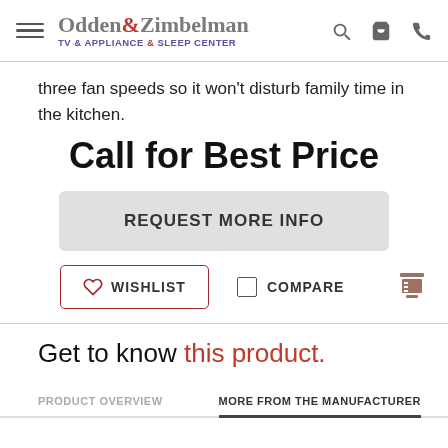Odden&Zimbelman TV & APPLIANCE & SLEEP CENTER
three fan speeds so it won't disturb family time in the kitchen.
Call for Best Price
REQUEST MORE INFO
WISHLIST   COMPARE
Get to know this product.
PRODUCT OVERVIEW   MORE FROM THE MANUFACTURER